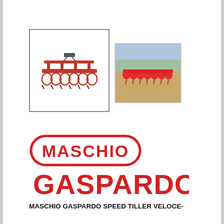[Figure (photo): Two photos of Maschio Gaspardo Speed Tiller agricultural equipment. First image shows the tiller machine viewed from the side/front against white background. Second image shows the red tiller in operation in a field.]
[Figure (logo): Maschio Gaspardo logo in red - pill-shaped border containing 'MASCHIO' text above, and large bold 'GASPARDO' text below, all in red.]
MASCHIO GASPARDO SPEED TILLER VELOCE-